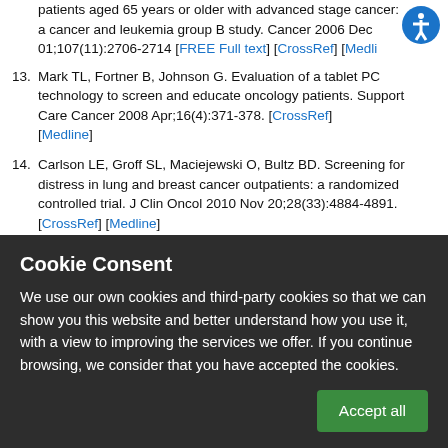patients aged 65 years or older with advanced stage cancer: a cancer and leukemia group B study. Cancer 2006 Dec 01;107(11):2706-2714 [FREE Full text] [CrossRef] [Medline]
13. Mark TL, Fortner B, Johnson G. Evaluation of a tablet PC technology to screen and educate oncology patients. Support Care Cancer 2008 Apr;16(4):371-378. [CrossRef] [Medline]
14. Carlson LE, Groff SL, Maciejewski O, Bultz BD. Screening for distress in lung and breast cancer outpatients: a randomized controlled trial. J Clin Oncol 2010 Nov 20;28(33):4884-4891. [CrossRef] [Medline]
15. Tabellen op jaarbasis. Belgian Cancer Registry.   URL:
Cookie Consent
We use our own cookies and third-party cookies so that we can show you this website and better understand how you use it, with a view to improving the services we offer. If you continue browsing, we consider that you have accepted the cookies.